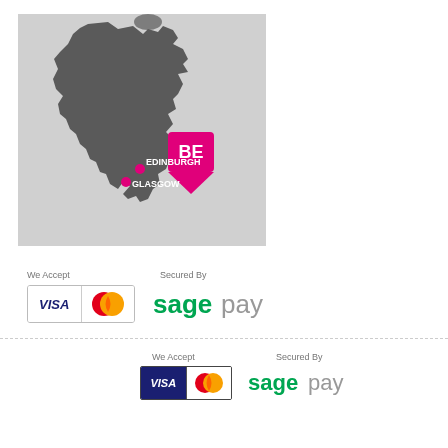[Figure (map): Map of Scotland with a magenta location pin marked 'BE' positioned near Edinburgh. Two white dot markers label Edinburgh and Glasgow.]
We Accept
[Figure (logo): Visa and MasterCard payment icons]
Secured By
[Figure (logo): SagePay logo]
We Accept
[Figure (logo): Visa and MasterCard payment icons (dark bordered)]
Secured By
[Figure (logo): SagePay logo]